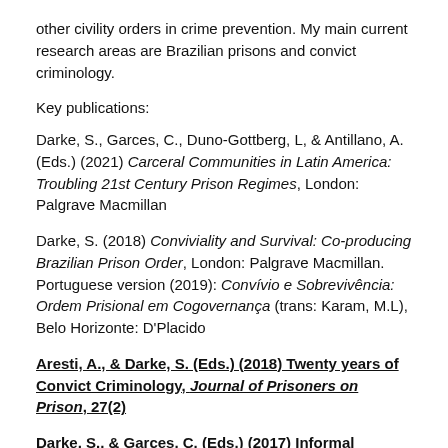other civility orders in crime prevention. My main current research areas are Brazilian prisons and convict criminology.
Key publications:
Darke, S., Garces, C., Duno-Gottberg, L, & Antillano, A. (Eds.) (2021) Carceral Communities in Latin America: Troubling 21st Century Prison Regimes, London: Palgrave Macmillan
Darke, S. (2018) Conviviality and Survival: Co-producing Brazilian Prison Order, London: Palgrave Macmillan. Portuguese version (2019): Convívio e Sobrevivência: Ordem Prisional em Cogovernança (trans: Karam, M.L), Belo Horizonte: D'Placido
Aresti, A., & Darke, S. (Eds.) (2018) Twenty years of Convict Criminology, Journal of Prisoners on Prison, 27(2)
Darke, S., & Garces, C. (Eds.) (2017) Informal dynamics